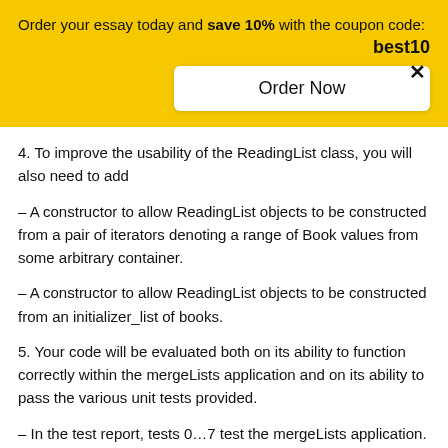Order your essay today and save 10% with the coupon code: best10
× Order Now
4. To improve the usability of the ReadingList class, you will also need to add
– A constructor to allow ReadingList objects to be constructed from a pair of iterators denoting a range of Book values from some arbitrary container.
– A constructor to allow ReadingList objects to be constructed from an initializer_list of books.
5. Your code will be evaluated both on its ability to function correctly within the mergeLists application and on its ability to pass the various unit tests provided.
– In the test report, tests 0…7 test the mergeLists application. Tests numbered 8…25 check the unit tests.